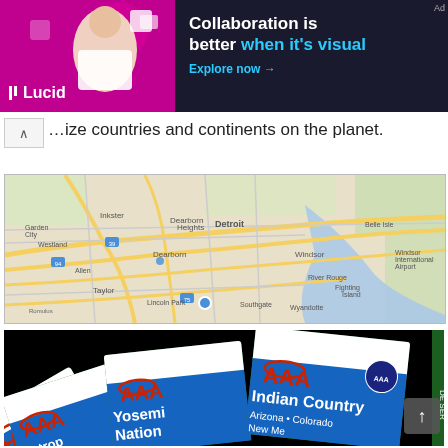[Figure (other): Lucid advertisement banner: 'Collaboration is better when it's visual. Explore now →' with a person and pink background on the left side.]
…ize countries and continents on the planet.
[Figure (map): Google Maps view of the Detroit, Michigan metropolitan area showing Detroit, Dearborn, Windsor, Taylor, and surrounding suburbs with road network and Detroit River.]
[Figure (photo): AAA map booklets fanned out against a black background, showing titles including 'Indian Country Arizona • Colorado • New Mexico', 'Yosemi Nation', and 'Metrop Los An Route 6'.]